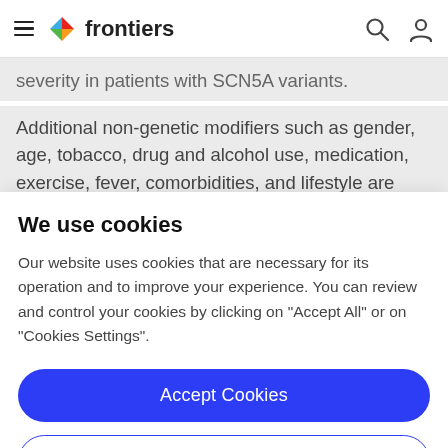frontiers
severity in patients with SCN5A variants.
Additional non-genetic modifiers such as gender, age, tobacco, drug and alcohol use, medication, exercise, fever, comorbidities, and lifestyle are also important
We use cookies
Our website uses cookies that are necessary for its operation and to improve your experience. You can review and control your cookies by clicking on "Accept All" or on "Cookies Settings".
Accept Cookies
Cookies Settings